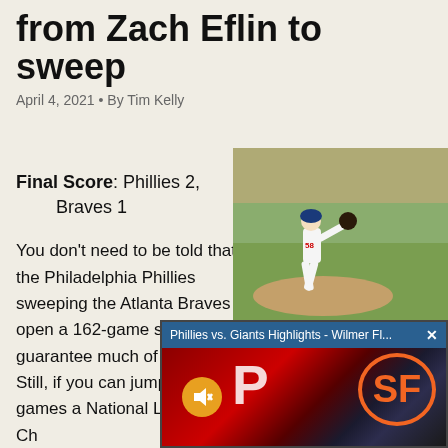from Zach Eflin to sweep
April 4, 2021 • By Tim Kelly
Final Score: Phillies 2, Braves 1
You don't need to be told that the Philadelphia Phillies sweeping the Atlanta Braves to open a 162-game set doesn't guarantee much of anything. Still, if you can jump three games a National League East Ch
[Figure (photo): Baseball pitcher wearing number 58 in a Phillies uniform mid-windup on a pitcher's mound]
[Figure (screenshot): Video overlay showing Phillies vs. Giants Highlights - Wilmer Fl... with Phillies and Giants logos on a dark background, with a mute button]